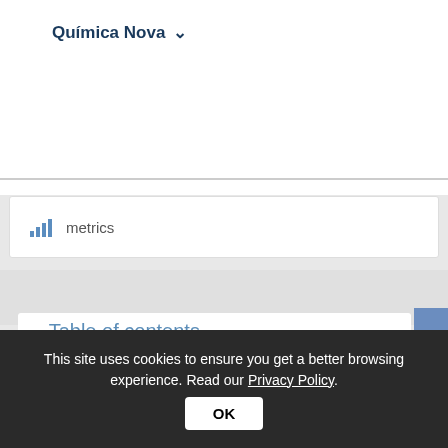Química Nova ▾
metrics
▾ Table of contents
Química Nova, Volume: 29, Issue: 6, Published:
O biodiesel e as políticas de C & T bra…
This site uses cookies to ensure you get a better browsing experience. Read our Privacy Policy.
OK